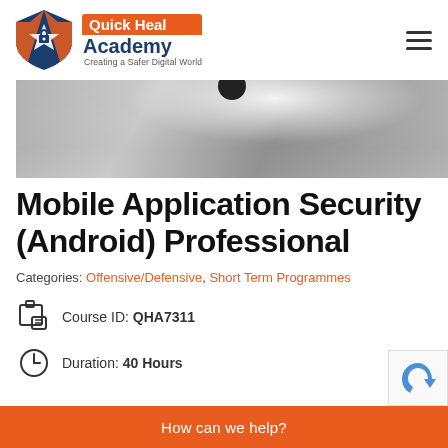[Figure (logo): Quick Heal Academy logo with shield icon, orange and blue branding, tagline 'Creating a Safer Digital World']
[Figure (photo): Grayscale hero banner photo, textured surface, dark circular object at top]
Mobile Application Security (Android) Professional
Categories: Offensive/Defensive, Short Term Programmes
Course ID: QHA7311
Duration: 40 Hours
How can we help?